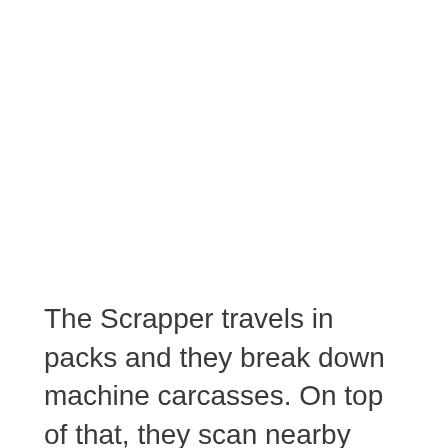The Scrapper travels in packs and they break down machine carcasses. On top of that, they scan nearby areas for any potential threats. If they spot an intruder, they will work together and defend the salvage that they found. These machines are agile